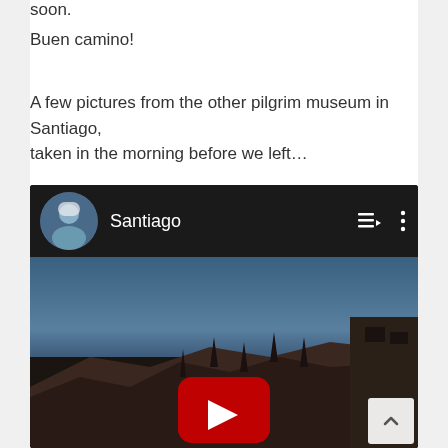soon.
Buen camino!
A few pictures from the other pilgrim museum in Santiago, taken in the morning before we left…
[Figure (screenshot): YouTube video embed with dark header showing a pilgrim avatar, title 'Santiago', playlist and more icons, and a video thumbnail showing rooftops of Santiago under a blue sky with a YouTube play button overlay.]